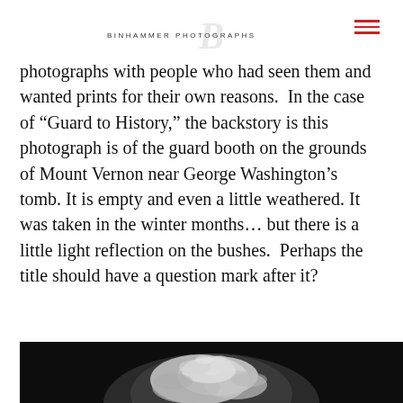BINHAMMER PHOTOGRAPHS
photographs with people who had seen them and wanted prints for their own reasons.  In the case of “Guard to History,” the backstory is this photograph is of the guard booth on the grounds of Mount Vernon near George Washington’s tomb. It is empty and even a little weathered. It was taken in the winter months… but there is a little light reflection on the bushes.  Perhaps the title should have a question mark after it?
[Figure (photo): Black and white photograph showing the top of a snow-covered or frost-covered tree or bush against a dark background, partially visible at the bottom of the page.]